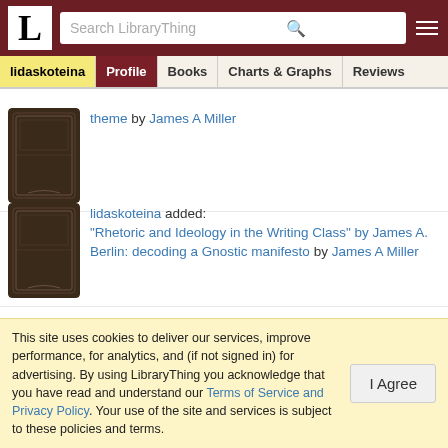L | Search LibraryThing | ≡
lidaskoteina | Profile | Books | Charts & Graphs | Reviews
theme by James A Miller
lidaskoteina added: "Rhetoric and Ideology in the Writing Class" by James A. Berlin: decoding a Gnostic manifesto by James A Miller
lidaskoteina added: The works of John Milton by John Milton
This site uses cookies to deliver our services, improve performance, for analytics, and (if not signed in) for advertising. By using LibraryThing you acknowledge that you have read and understand our Terms of Service and Privacy Policy. Your use of the site and services is subject to these policies and terms.